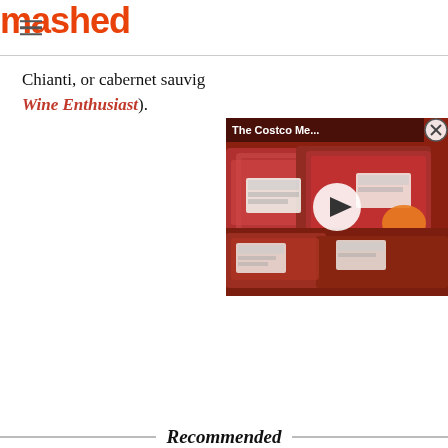mashed
Chianti, or cabernet sauvig… Wine Enthusiast).
[Figure (screenshot): Video thumbnail showing packaged meat (ground beef trays) at Costco with play button overlay and title 'The Costco Me...']
Recommended